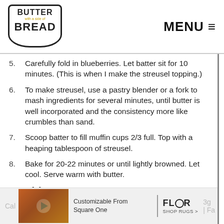BUTTER with a side of BREAD | MENU
5. Carefully fold in blueberries. Let batter sit for 10 minutes. (This is when I make the streusel topping.)
6. To make streusel, use a pastry blender or a fork to mash ingredients for several minutes, until butter is well incorporated and the consistency more like crumbles than sand.
7. Scoop batter to fill muffin cups 2/3 full. Top with a heaping tablespoon of streusel.
8. Bake for 20-22 minutes or until lightly browned. Let cool. Serve warm with butter.
Nutrition
[Figure (advertisement): Advertisement banner for FLOR rugs - Customizable From Square One, SHOP RUGS >]